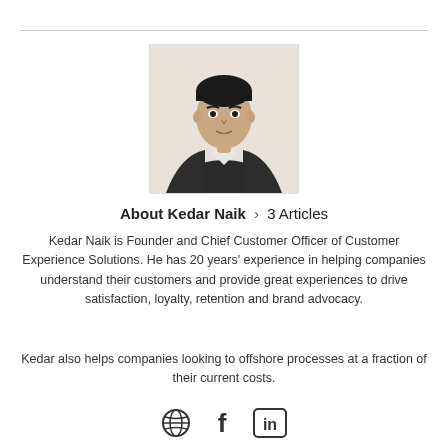[Figure (photo): Headshot photo of Kedar Naik, a man in a dark suit with white shirt, against a light background, centered on page]
About Kedar Naik › 3 Articles
Kedar Naik is Founder and Chief Customer Officer of Customer Experience Solutions. He has 20 years' experience in helping companies understand their customers and provide great experiences to drive satisfaction, loyalty, retention and brand advocacy.
Kedar also helps companies looking to offshore processes at a fraction of their current costs.
[Figure (illustration): Three social media icons: globe/website icon, Facebook icon (f), LinkedIn icon (in)]